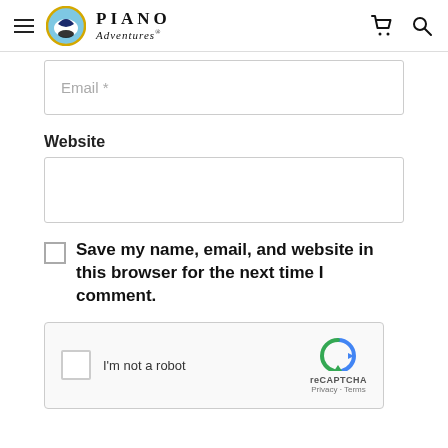Piano Adventures
Email *
Website
Save my name, email, and website in this browser for the next time I comment.
[Figure (screenshot): reCAPTCHA widget with checkbox, 'I'm not a robot' text, reCAPTCHA logo, Privacy and Terms links]